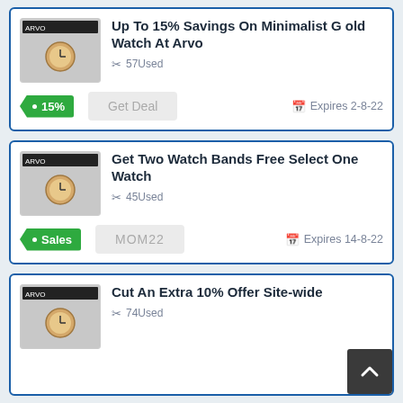Up To 15% Savings On Minimalist Gold Watch At Arvo — 57Used — Get Deal — Expires 2-8-22 — 15%
Get Two Watch Bands Free Select One Watch — 45Used — MOM22 — Expires 14-8-22 — Sales
Cut An Extra 10% Offer Site-wide — 74Used